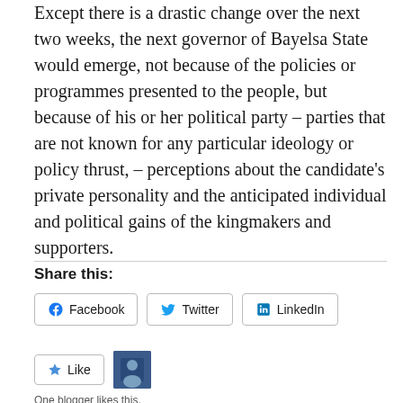Except there is a drastic change over the next two weeks, the next governor of Bayelsa State would emerge, not because of the policies or programmes presented to the people, but because of his or her political party – parties that are not known for any particular ideology or policy thrust, – perceptions about the candidate's private personality and the anticipated individual and political gains of the kingmakers and supporters.
Share this:
Facebook  Twitter  LinkedIn
Like
One blogger likes this.